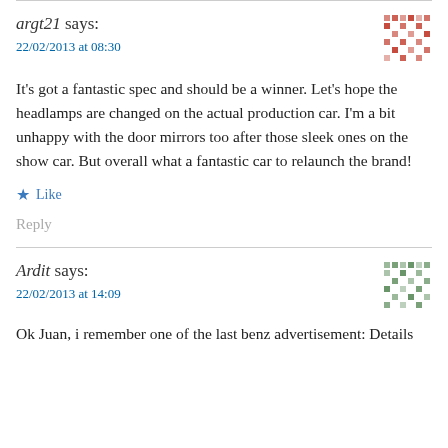argt21 says:
22/02/2013 at 08:30
It's got a fantastic spec and should be a winner. Let's hope the headlamps are changed on the actual production car. I'm a bit unhappy with the door mirrors too after those sleek ones on the show car. But overall what a fantastic car to relaunch the brand!
Like
Reply
Ardit says:
22/02/2013 at 14:09
Ok Juan, i remember one of the last benz advertisement: Details